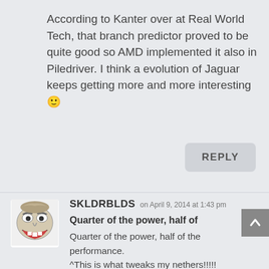According to Kanter over at Real World Tech, that branch predictor proved to be quite good so AMD implemented it also in Piledriver. I think a evolution of Jaguar keeps getting more and more interesting 🙂
REPLY
[Figure (illustration): Troll face meme avatar image in grayscale]
SKLDRBLDS on April 9, 2014 at 1:43 pm
Quarter of the power, half of
Quarter of the power, half of the performance.
^This is what tweaks my nethers!!!!!
EPIC JOB AMD!